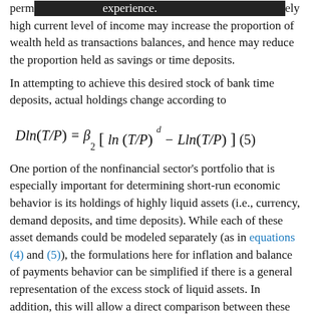perm[redacted]experience.[redacted]ely high current level of income may increase the proportion of wealth held as transactions balances, and hence may reduce the proportion held as savings or time deposits.
In attempting to achieve this desired stock of bank time deposits, actual holdings change according to
One portion of the nonfinancial sector's portfolio that is especially important for determining short-run economic behavior is its holdings of highly liquid assets (i.e., currency, demand deposits, and time deposits). While each of these asset demands could be modeled separately (as in equations (4) and (5)), the formulations here for inflation and balance of payments behavior can be simplified if there is a general representation of the excess stock of liquid assets. In addition, this will allow a direct comparison between these results for the demand for money and those obtained in previous studies that generally used ordinary least squares regression analysis and ignored